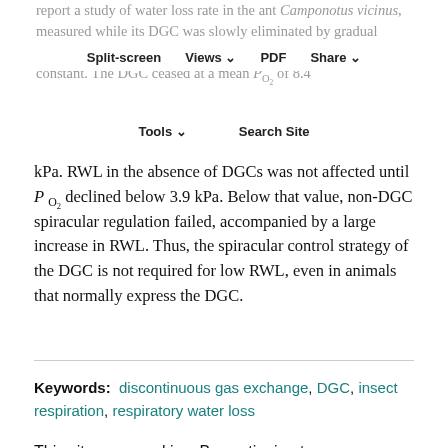report a study of water loss rate in the ant Camponotus vicinus, measured while its DGC was slowly eliminated by gradual hypoxia (hypoxic ramp de–DGCing). Metabolic rate remained constant. The DGC ceased at a mean P_O2 of 8.4 kPa. RWL in the absence of DGCs was not affected until P_O2 declined below 3.9 kPa. Below that value, non-DGC spiracular regulation failed, accompanied by a large increase in RWL. Thus, the spiracular control strategy of the DGC is not required for low RWL, even in animals that normally express the DGC.
Keywords: discontinuous gas exchange, DGC, insect respiration, respiratory water loss
This site uses cookies. By continuing to use our website, you are agreeing to our privacy policy. Accept
INTRODUCTION
The DGC, or discontinuous gas exchange cycle, is a...